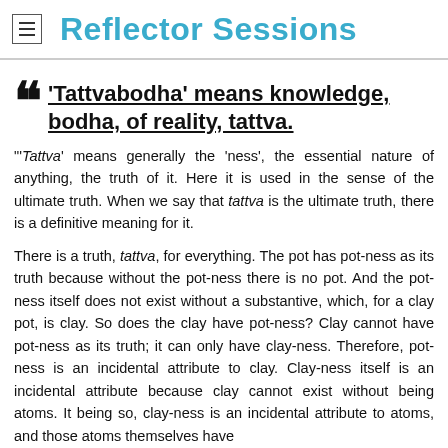Reflector Sessions
'Tattvabodha' means knowledge, bodha, of reality, tattva.
"'Tattva' means generally the 'ness', the essential nature of anything, the truth of it. Here it is used in the sense of the ultimate truth. When we say that tattva is the ultimate truth, there is a definitive meaning for it.
There is a truth, tattva, for everything. The pot has pot-ness as its truth because without the pot-ness there is no pot. And the pot-ness itself does not exist without a substantive, which, for a clay pot, is clay. So does the clay have pot-ness? Clay cannot have pot-ness as its truth; it can only have clay-ness. Therefore, pot-ness is an incidental attribute to clay. Clay-ness itself is an incidental attribute because clay cannot exist without being atoms. It being so, clay-ness is an incidental attribute to atoms, and those atoms themselves have